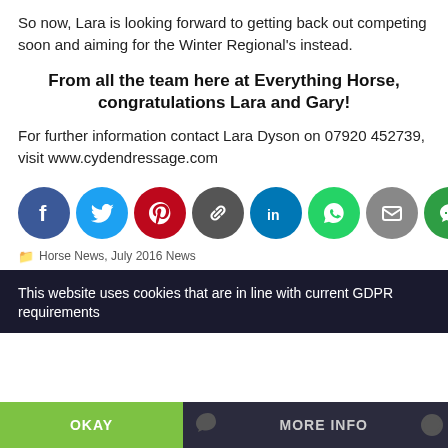So now, Lara is looking forward to getting back out competing soon and aiming for the Winter Regional's instead.
From all the team here at Everything Horse, congratulations Lara and Gary!
For further information contact Lara Dyson on 07920 452739, visit www.cydendressage.com
[Figure (infographic): Row of 8 social media sharing icons: Facebook (blue), Twitter (light blue), Pinterest (red), Link/chain (dark gray), LinkedIn (blue), WhatsApp (green), Email (gray), SMS/message (green)]
Horse News, July 2016 News
This website uses cookies that are in line with current GDPR requirements
OKAY
MORE INFO